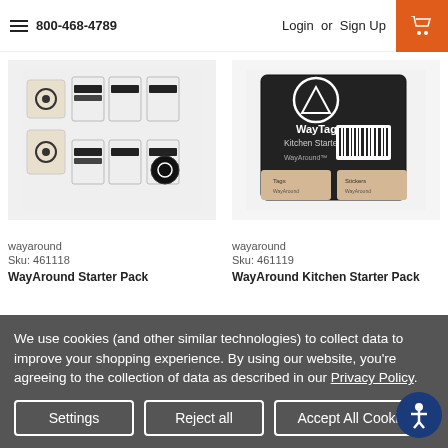800-468-4789   Login or Sign Up
[Figure (photo): WayAround Starter Pack product image showing multiple NFC tags in plastic bags]
wayaround
Sku: 461118
WayAround Starter Pack
[Figure (photo): WayAround Kitchen Starter Pack product image showing packaged NFC tag kit with black packaging]
wayaround
Sku: 461119
WayAround Kitchen Starter Pack
We use cookies (and other similar technologies) to collect data to improve your shopping experience. By using our website, you're agreeing to the collection of data as described in our Privacy Policy.